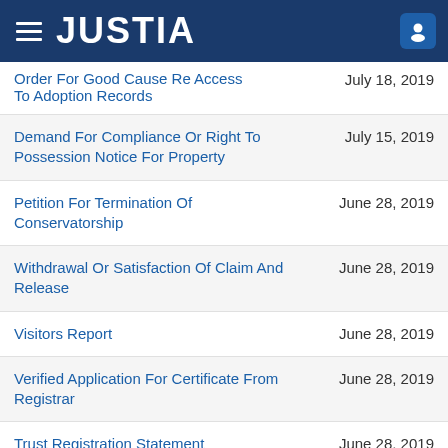JUSTIA
Order For Good Cause Re Access To Adoption Records
Demand For Compliance Or Right To Possession Notice For Property
Petition For Termination Of Conservatorship
Withdrawal Or Satisfaction Of Claim And Release
Visitors Report
Verified Application For Certificate From Registrar
Trust Registration Statement
Statement Of Personal Representative Checklist